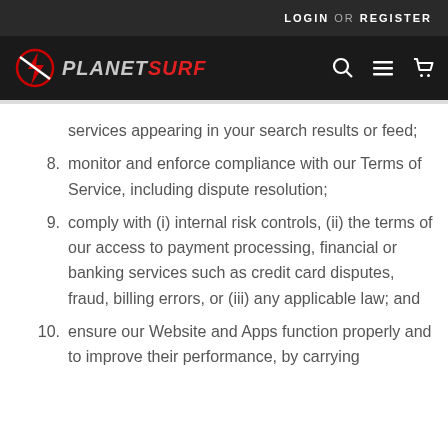LOGIN OR REGISTER
[Figure (logo): Planet Surf logo with lightning bolt icon, PLANET in grey and SURF in red, italic bold text]
services appearing in your search results or feed;
8. monitor and enforce compliance with our Terms of Service, including dispute resolution;
9. comply with (i) internal risk controls, (ii) the terms of our access to payment processing, financial or banking services such as credit card disputes, fraud, billing errors, or (iii) any applicable law; and
10. ensure our Website and Apps function properly and to improve their performance, by carrying